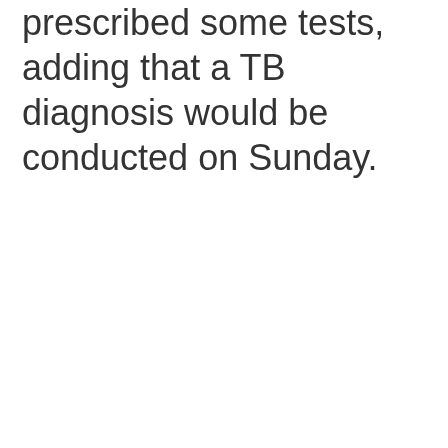prescribed some tests, adding that a TB diagnosis would be conducted on Sunday.